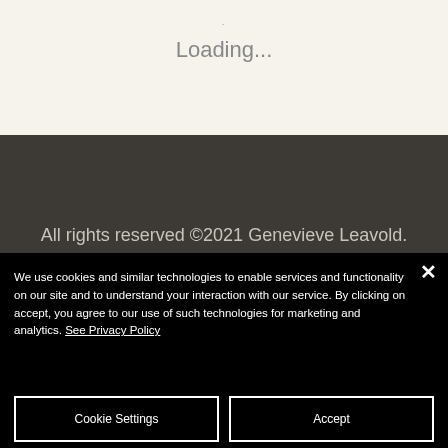[Figure (screenshot): Loading spinner area with beige/cream background showing a small dot and 'Loading...' text]
Loading...
All rights reserved ©2021 Genevieve Leavold.
Delivery
We use cookies and similar technologies to enable services and functionality on our site and to understand your interaction with our service. By clicking on accept, you agree to our use of such technologies for marketing and analytics. See Privacy Policy
Cookie Settings
Accept